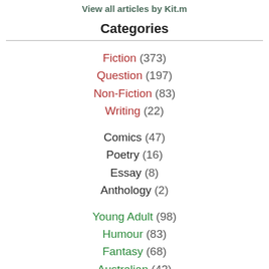View all articles by Kit.m
Categories
Fiction (373)
Question (197)
Non-Fiction (83)
Writing (22)
Comics (47)
Poetry (16)
Essay (8)
Anthology (2)
Young Adult (98)
Humour (83)
Fantasy (68)
Australian (42)